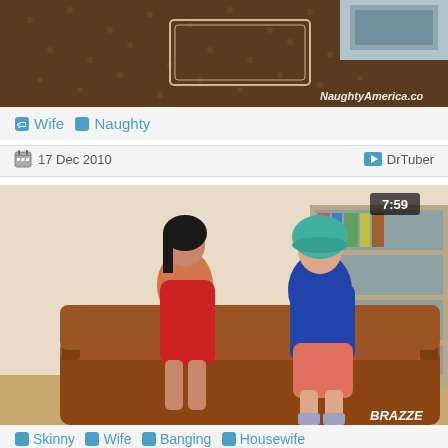[Figure (photo): Partial thumbnail of a video from NaughtyAmerica.co — cropped torso shot]
Wife  Naughty
17 Dec 2010    DrTuber
[Figure (photo): Video thumbnail from Brazzers showing two people on a brown leather couch, woman in red dress, man in blue shirt and teal helmet; bicycle in background; duration 7:59]
Skinny  Wife  Banging  Housewife
11 Oct 2016    Bravo Tube
[Figure (photo): Partial thumbnail of another video, cropped at bottom of page]